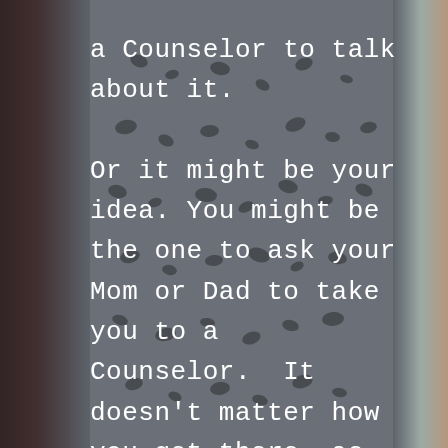a Counselor to talk about it.

Or it might be your idea. You might be the one to ask your Mom or Dad to take you to a Counselor.  It doesn't matter how you get there, as long as you can talk to someone about what makes you feel sad, angry, afraid